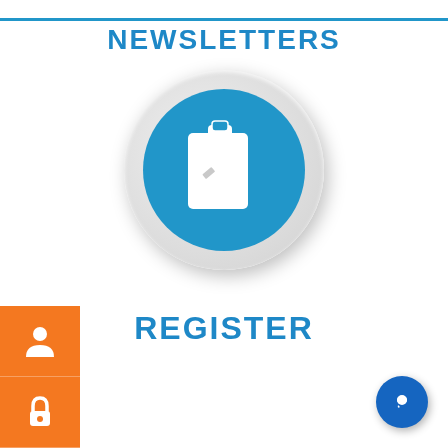NEWSLETTERS
[Figure (illustration): Blue circle button with clipboard and pencil icon on a light gray outer circle, 3D shaded appearance]
REGISTER
[Figure (illustration): Orange sidebar with three icon buttons: person/user icon, lock icon, and tablet/phone icon]
[Figure (illustration): Dark blue circular chat/support bubble button in bottom right corner]